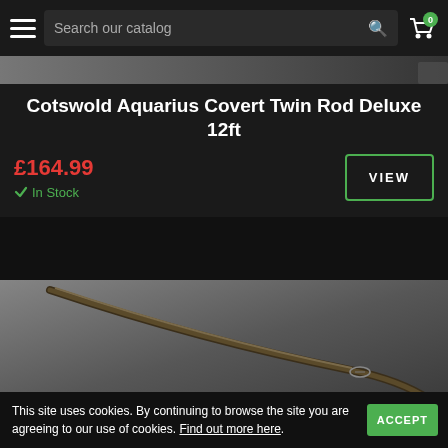Search our catalog
[Figure (photo): Top portion of a fishing rod product image on dark background]
Cotswold Aquarius Covert Twin Rod Deluxe 12ft
£164.99
✓ In Stock
[Figure (photo): Fishing rod camouflage pattern close-up on grey background]
This site uses cookies. By continuing to browse the site you are agreeing to our use of cookies. Find out more here.